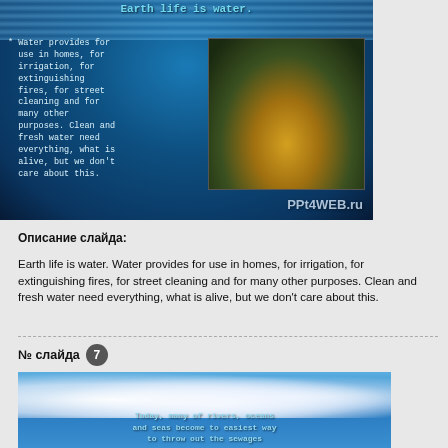[Figure (photo): Slide image showing water/ocean background with text overlay and a cave/nature photo inset. Title reads 'Earth life is water.' with bullet text about water uses. PPt4WEB.ru watermark.]
Описание слайда:
Earth life is water. Water provides for use in homes, for irrigation, for extinguishing fires, for street cleaning and for many other purposes. Clean and fresh water need everything, what is alive, but we don't care about this.
№ слайда 7
[Figure (photo): Slide 7 image showing blue sky with clouds and text overlay reading 'Today, many of rivers, oceans and seas become to easiest way to throw out the sewages']